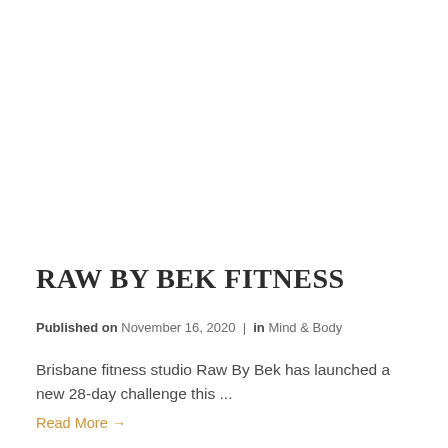RAW BY BEK FITNESS
Published on November 16, 2020 | in Mind & Body
Brisbane fitness studio Raw By Bek has launched a new 28-day challenge this ...
Read More 🡒